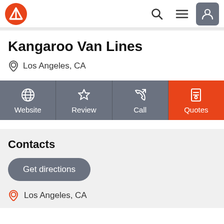Navigation bar with logo, search, menu, and user icons
Kangaroo Van Lines
Los Angeles, CA
[Figure (other): Four action buttons: Website, Review, Call, Quotes (orange)]
Contacts
Get directions
Los Angeles, CA